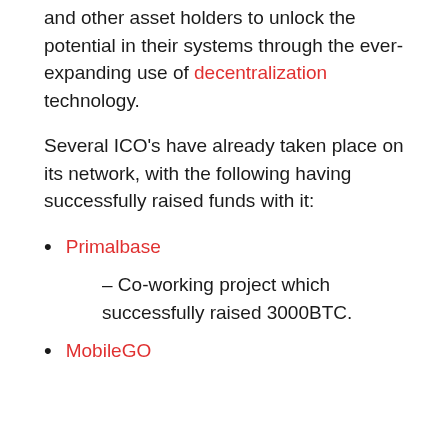and other asset holders to unlock the potential in their systems through the ever-expanding use of decentralization technology.
Several ICO's have already taken place on its network, with the following having successfully raised funds with it:
Primalbase
– Co-working project which successfully raised 3000BTC.
MobileGO